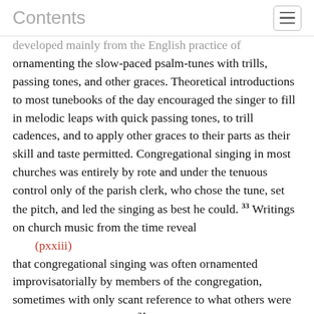Contents
developed mainly from the English practice of ornamenting the slow-paced psalm-tunes with trills, passing tones, and other graces. Theoretical introductions to most tunebooks of the day encouraged the singer to fill in melodic leaps with quick passing tones, to trill cadences, and to apply other graces to their parts as their skill and taste permitted. Congregational singing in most churches was entirely by rote and under the tenuous control only of the parish clerk, who chose the tune, set the pitch, and led the singing as best he could. 33 Writings on church music from the time reveal
(pxxiii)
that congregational singing was often ornamented improvisatorially by members of the congregation, sometimes with only scant reference to what others were singing at the same time. 34 An example of the ornamented psalm-tune is seen in the setting of